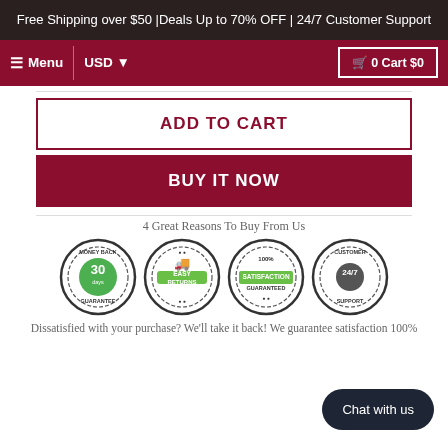Free Shipping over $50 |Deals Up to 70% OFF | 24/7 Customer Support
[Figure (screenshot): Navigation bar with menu, USD selector, and cart button showing 0 Cart $0]
ADD TO CART
BUY IT NOW
4 Great Reasons To Buy From Us
[Figure (infographic): Four trust badges: 30 days Money Back Guarantee, Easy Returns, 100% Satisfaction Guaranteed, 24/7 Customer Support]
Dissatisfied with your purchase? We'll take it back! We guarantee satisfaction 100%
Chat with us